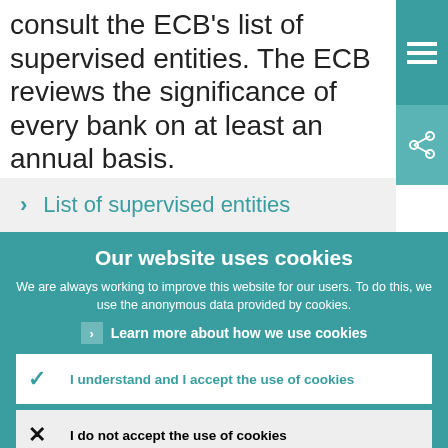consult the ECB's list of supervised entities. The ECB reviews the significance of every bank on at least an annual basis.
> List of supervised entities
Our website uses cookies
We are always working to improve this website for our users. To do this, we use the anonymous data provided by cookies.
> Learn more about how we use cookies
✓ I understand and I accept the use of cookies
✗ I do not accept the use of cookies